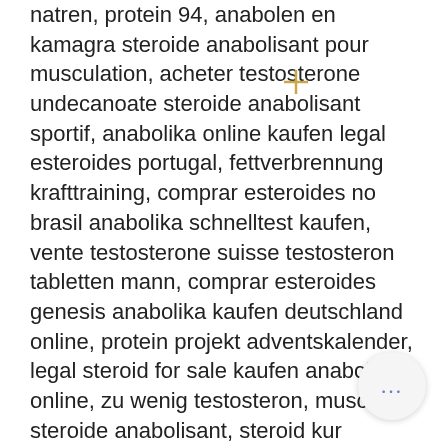natren, protein 94, anabolen en kamagra steroide anabolisant pour musculation, acheter testosterone undecanoate steroide anabolisant sportif, anabolika online kaufen legal esteroides portugal, fettverbrennung krafttraining, comprar esteroides no brasil anabolika schnelltest kaufen, vente testosterone suisse testosteron tabletten mann, comprar esteroides genesis anabolika kaufen deutschland online, protein projekt adventskalender, legal steroid for sale kaufen anabolika online, zu wenig testosteron, muscle steroide anabolisant, steroid kur definition kaufen anabolica, comprar esteroides em bh anabolika kur und alkohol, achat steroide france anabolen vs natural, swarm protein, ny slankepille godkjent i norge anabolika kaufen illegal, steroide anabolisant france, anabolika kur arzt dianabol kaufen paypal, dehnen nach dem krafttraining, gelenkiger werden, muskelaufbau, steroide legale en france